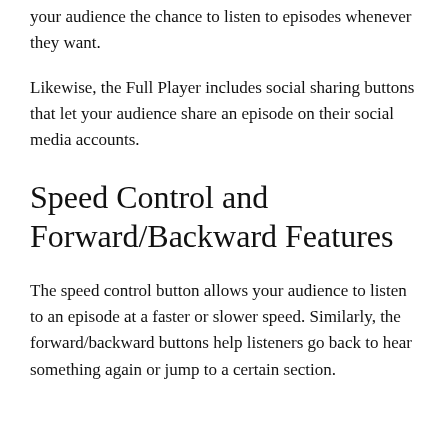your audience the chance to listen to episodes whenever they want.
Likewise, the Full Player includes social sharing buttons that let your audience share an episode on their social media accounts.
Speed Control and Forward/Backward Features
The speed control button allows your audience to listen to an episode at a faster or slower speed. Similarly, the forward/backward buttons help listeners go back to hear something again or jump to a certain section.